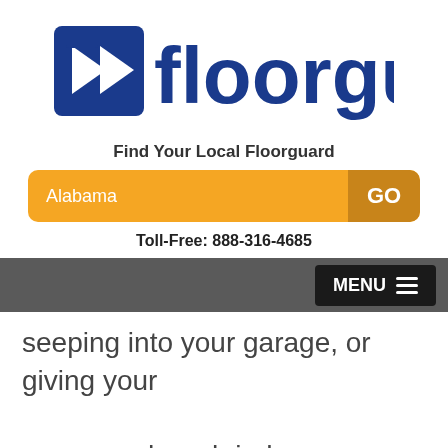[Figure (logo): Floorguard logo with blue double-arrow icon on left and 'floorguard' text in blue bold font]
Find Your Local Floorguard
Alabama  GO
Toll-Free: 888-316-4685
MENU
seeping into your garage, or giving your car a good wash indoors.
A Safer Garage